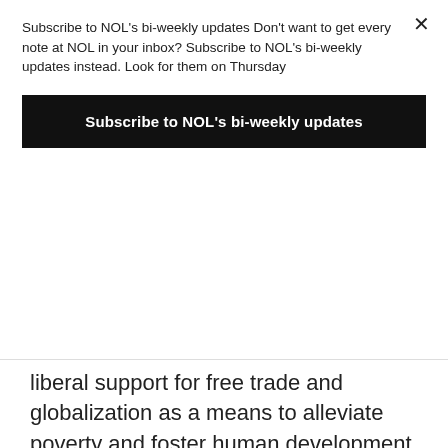Subscribe to NOL's bi-weekly updates Don't want to get every note at NOL in your inbox? Subscribe to NOL's bi-weekly updates instead. Look for them on Thursday
Subscribe to NOL's bi-weekly updates
liberal support for free trade and globalization as a means to alleviate poverty and foster human development more broadly has been rather constant, although the ideal of trade free from all government interference has never been within reach. With the World Trade Organization at shambles, the increase of bilateral and regional trade treaties which often hamper free trade more than